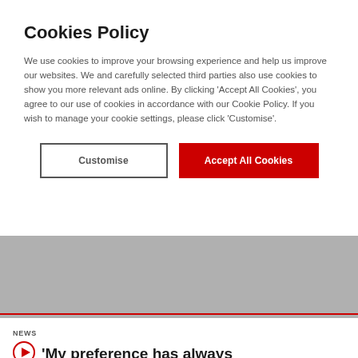Cookies Policy
We use cookies to improve your browsing experience and help us improve our websites. We and carefully selected third parties also use cookies to show you more relevant ads online. By clicking ‘Accept All Cookies’, you agree to our use of cookies in accordance with our Cookie Policy. If you wish to manage your cookie settings, please click ‘Customise’.
[Figure (screenshot): Two buttons: 'Customise' (outlined, grey text) and 'Accept All Cookies' (solid red background, white text)]
[Figure (photo): Grey blurred background area beneath the cookie policy modal]
NEWS
‘My preference has always